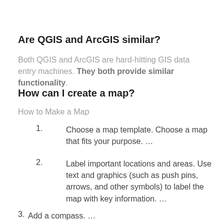Are QGIS and ArcGIS similar?
Both QGIS and ArcGIS are hard-hitting GIS data entry machines. They both provide similar functionality.
How can I create a map?
How to Make a Map
Choose a map template. Choose a map that fits your purpose. …
Label important locations and areas. Use text and graphics (such as push pins, arrows, and other symbols) to label the map with key information. …
Add a compass. …